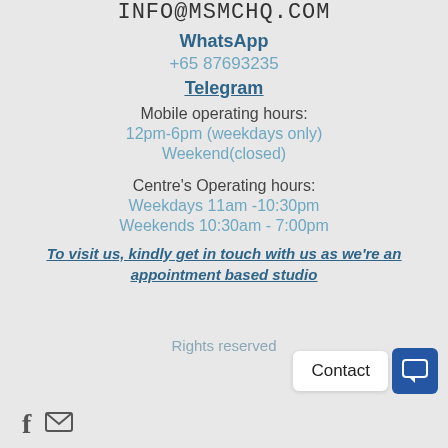INFO@MSMCHQ.COM
WhatsApp
+65 87693235
Telegram
Mobile operating hours:
12pm-6pm (weekdays only)
Weekend(closed)
Centre's Operating hours:
Weekdays 11am -10:30pm
Weekends 10:30am - 7:00pm
To visit us, kindly get in touch with us as we're an appointment based studio
Rights reserved
Contact | [chat icon] | [facebook icon] | [mail icon]